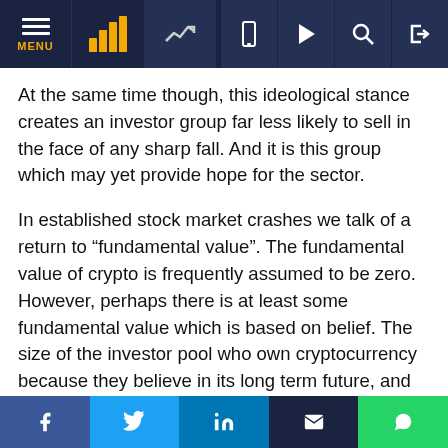Navigation bar with MENU, chart logo, trend icon, and social/utility icons
At the same time though, this ideological stance creates an investor group far less likely to sell in the face of any sharp fall. And it is this group which may yet provide hope for the sector.
In established stock market crashes we talk of a return to “fundamental value”. The fundamental value of crypto is frequently assumed to be zero. However, perhaps there is at least some fundamental value which is based on belief. The size of the investor pool who own cryptocurrency because they believe in its long term future, and the promise of a new money, may determine that fundamental value of crypto.
Indeed, if we consider cryptocurrency investors as
f  y  in  ✉  ©